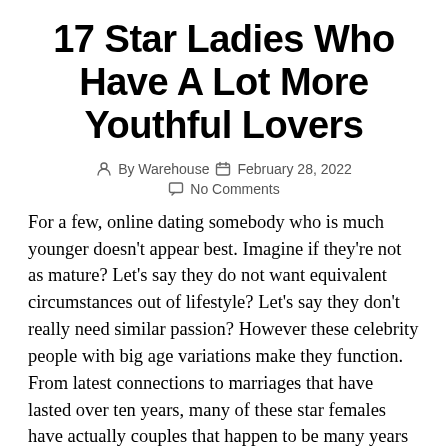17 Star Ladies Who Have A Lot More Youthful Lovers
By Warehouse   February 28, 2022   No Comments
For a few, online dating somebody who is much younger doesn't appear best. Imagine if they're not as mature? Let's say they do not want equivalent circumstances out of lifestyle? Let's say they don't really need similar passion? However these celebrity people with big age variations make they function. From latest connections to marriages that have lasted over ten years, many of these star females have actually couples that happen to be many years young than them.